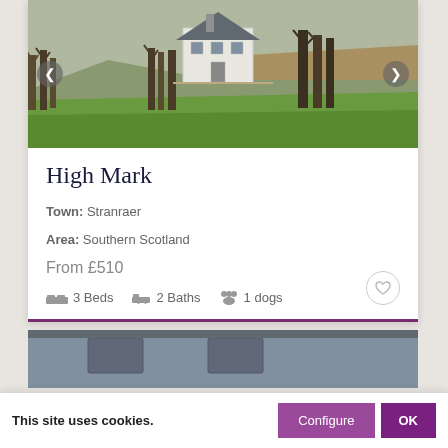[Figure (photo): A white farmhouse/cottage set among leafless trees and green fields with moorland hills in the background. Navigation arrows on left and right sides of the photo.]
High Mark
Town: Stranraer
Area: Southern Scotland
From £510
3 Beds  2 Baths  1 dogs
[Figure (photo): Partial view of a building roofline with skylights, partially obscured by the cookie consent bar.]
This site uses cookies.
Configure
OK